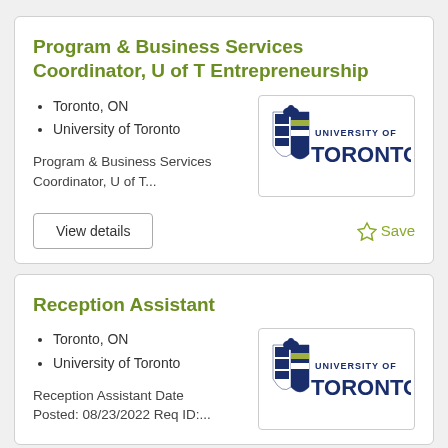Program & Business Services Coordinator, U of T Entrepreneurship
Toronto, ON
University of Toronto
Program & Business Services Coordinator, U of T...
[Figure (logo): University of Toronto logo with crest and text]
View details
Save
Reception Assistant
Toronto, ON
University of Toronto
Reception Assistant Date Posted: 08/23/2022 Req ID:...
[Figure (logo): University of Toronto logo with crest and text]